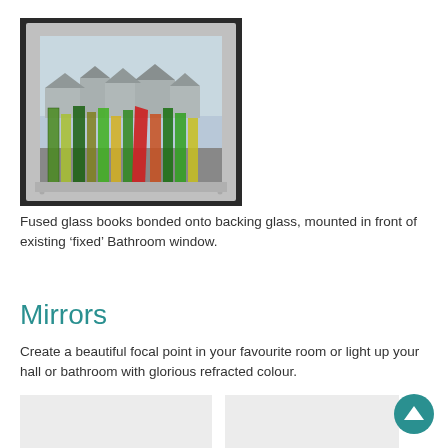[Figure (photo): Fused glass books arranged on a window sill, mounted in front of a bathroom window. The coloured glass pieces in green, yellow, red, and orange stand upright against the light of the window showing houses and sky outside.]
Fused glass books bonded onto backing glass, mounted in front of existing ‘fixed’ Bathroom window.
Mirrors
Create a beautiful focal point in your favourite room or light up your hall or bathroom with glorious refracted colour.
[Figure (photo): Placeholder image box (light grey) - mirror photo left]
[Figure (photo): Placeholder image box (light grey) - mirror photo right]